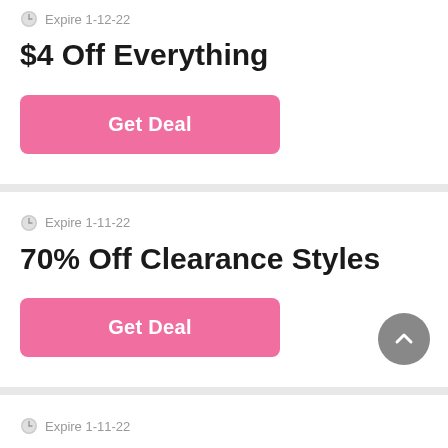Expire 1-12-22
$4 Off Everything
Get Deal
Expire 1-11-22
70% Off Clearance Styles
Get Deal
Expire 1-11-22